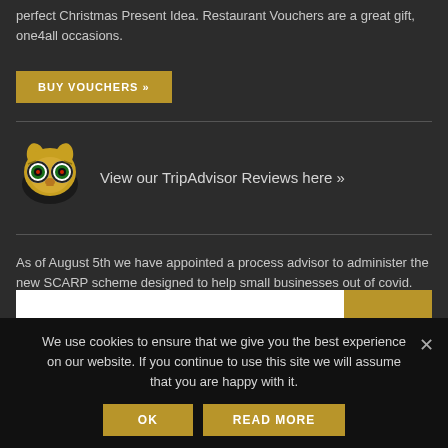perfect Christmas Present Idea. Restaurant Vouchers are a great gift, one4all occasions.
BUY VOUCHERS »
[Figure (logo): TripAdvisor owl logo]
View our TripAdvisor Reviews here »
As of August 5th we have appointed a process advisor to administer the new SCARP scheme designed to help small businesses out of covid.
We use cookies to ensure that we give you the best experience on our website. If you continue to use this site we will assume that you are happy with it.
OK
READ MORE